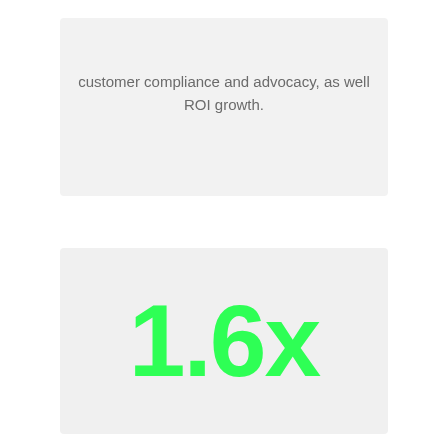customer compliance and advocacy, as well ROI growth.
[Figure (infographic): Large green bold text showing '1.6x' on a light grey background, representing a multiplier metric.]